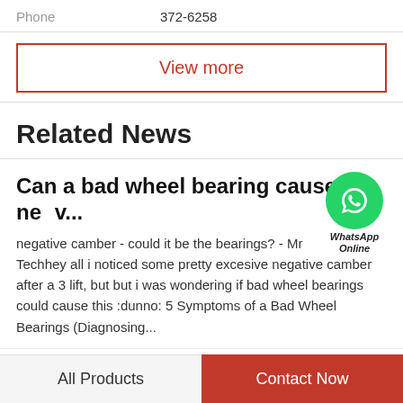Phone   372-6258
View more
Related News
Can a bad wheel bearing cause neg v...
negative camber - could it be the bearings? - Mr Techhey all i noticed some pretty excesive negative camber after a 3 lift, but but i was wondering if bad wheel bearings could cause this :dunno: 5 Symptoms of a Bad Wheel Bearings (Diagnosing...
[Figure (logo): WhatsApp Online green circle icon with text WhatsApp Online]
All Products   Contact Now